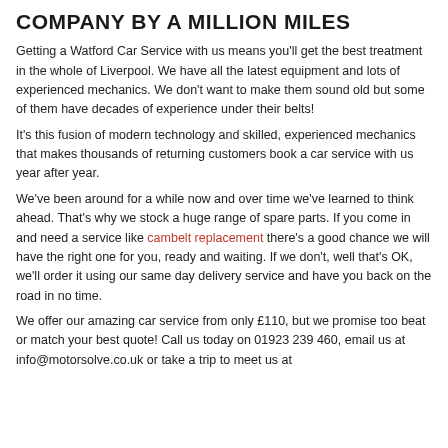COMPANY BY A MILLION MILES
Getting a Watford Car Service with us means you'll get the best treatment in the whole of Liverpool. We have all the latest equipment and lots of experienced mechanics. We don't want to make them sound old but some of them have decades of experience under their belts!
It's this fusion of modern technology and skilled, experienced mechanics that makes thousands of returning customers book a car service with us year after year.
We've been around for a while now and over time we've learned to think ahead. That's why we stock a huge range of spare parts. If you come in and need a service like cambelt replacement there's a good chance we will have the right one for you, ready and waiting. If we don't, well that's OK, we'll order it using our same day delivery service and have you back on the road in no time.
We offer our amazing car service from only £110, but we promise too beat or match your best quote! Call us today on 01923 239 460, email us at info@motorsolve.co.uk or take a trip to meet us at